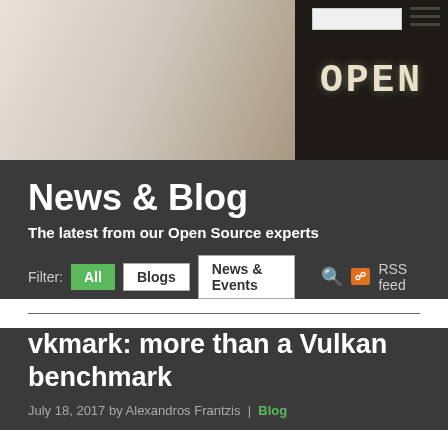[Figure (photo): Hero banner image showing a blurred coffee shop interior on the left and an OPEN chalkboard sign on a dark background on the right, with a hamburger menu icon and search bar in the top right corner.]
News & Blog
The latest from our Open Source experts
Filter:  All  Blogs  News & Events  🔍  RSS feed
vkmark: more than a Vulkan benchmark
July 18, 2017 by Alexandros Frantzis | Blog